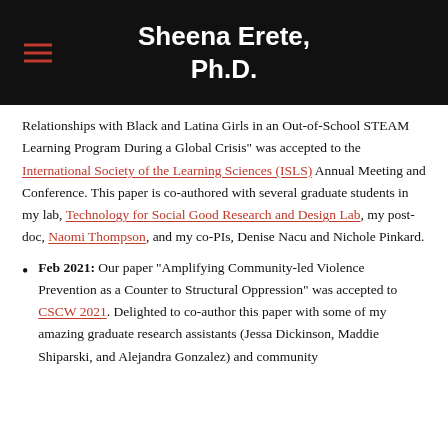Sheena Erete, Ph.D.
Relationships with Black and Latina Girls in an Out-of-School STEAM Learning Program During a Global Crisis" was accepted to the International Society of the Learning Sciences (ISLS) Annual Meeting and Conference. This paper is co-authored with several graduate students in my lab, Technology for Social Good Research and Design Lab, my post-doc, Naomi Thompson, and my co-PIs, Denise Nacu and Nichole Pinkard.
Feb 2021: Our paper “Amplifying Community-led Violence Prevention as a Counter to Structural Oppression” was accepted to CSCW 2021. Delighted to co-author this paper with some of my amazing graduate research assistants (Jessa Dickinson, Maddie Shiparski, and Alejandra Gonzalez) and community